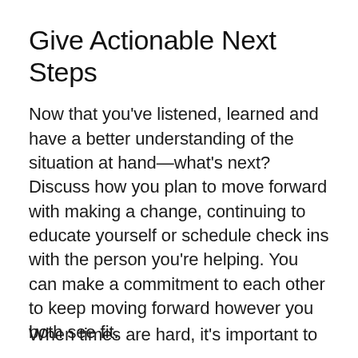Give Actionable Next Steps
Now that you've listened, learned and have a better understanding of the situation at hand—what's next? Discuss how you plan to move forward with making a change, continuing to educate yourself or schedule check ins with the person you're helping. You can make a commitment to each other to keep moving forward however you both see fit.
When times are hard, it's important to